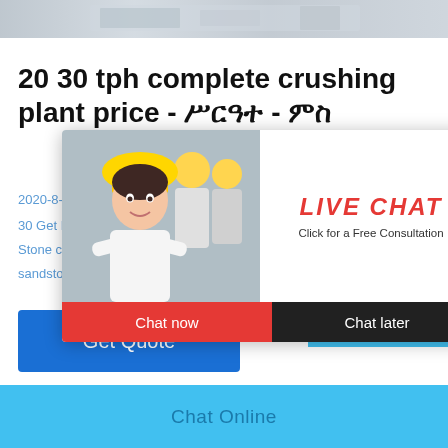[Figure (photo): Top strip showing industrial/construction machinery in grayscale]
20 30 tph complete crushing plant price - ሥርዓተ - ምስ
2020-8-7
30 Get Pri...
Stone con...
sandstone crushers price in
[Figure (screenshot): Live chat popup overlay showing workers in hard hats, LIVE CHAT text in red italic, Click for a Free Consultation, Chat now (red button) and Chat later (dark button)]
[Figure (infographic): Right side chat widget on cyan background showing emoji gauge/meter, Click me to chat >> button, Enquiry section, cywaitml@gmail.com email]
Get Quote
Chat Online